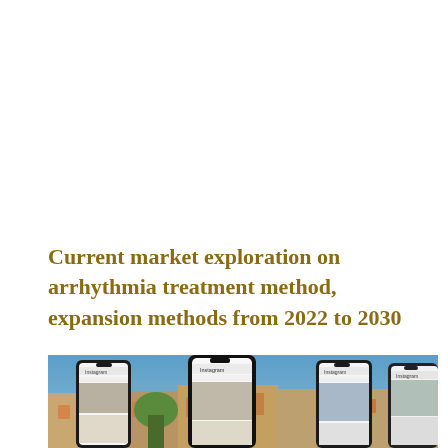Current market exploration on arrhythmia treatment method, expansion methods from 2022 to 2030
[Figure (photo): Photograph showing multiple smartphone mockups displaying Instagram-like social media interfaces, set against a background of European-style buildings and a blue sky. The phones show profile feeds and images of city architecture.]